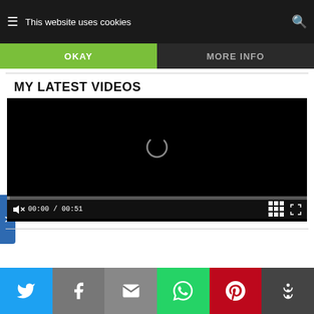This website uses cookies | MOM Kitchen | OKAY | MORE INFO
MY LATEST VIDEOS
[Figure (screenshot): Embedded video player showing a black screen with loading spinner. Controls show 00:00 / 00:51 time, mute button, grid view icon, and fullscreen icon.]
Social share bar: Twitter, Facebook, Email, WhatsApp, Pinterest, More